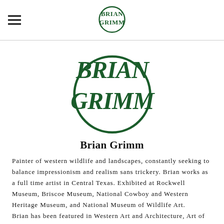[Figure (logo): Brian Grimm monogram logo, small, in header navigation bar]
[Figure (logo): Brian Grimm large decorative monogram logo in dark green, centered on page]
Brian Grimm
Painter of western wildlife and landscapes, constantly seeking to balance impressionism and realism sans trickery. Brian works as a full time artist in Central Texas. Exhibited at Rockwell Museum, Briscoe Museum, National Cowboy and Western Heritage Museum, and National Museum of Wildlife Art.
Brian has been featured in Western Art and Architecture, Art of the West, Southwest Art